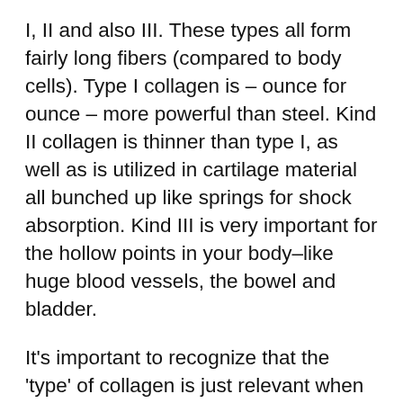I, II and also III. These types all form fairly long fibers (compared to body cells). Type I collagen is – ounce for ounce – more powerful than steel. Kind II collagen is thinner than type I, as well as is utilized in cartilage material all bunched up like springs for shock absorption. Kind III is very important for the hollow points in your body–like huge blood vessels, the bowel and bladder.
It's important to recognize that the 'type' of collagen is just relevant when it's currently a part of your body. When you eat it, your body simply re-makes it into new types.
Collagen is so big and challenging that we can't absorb it 'as is' when we eat it. What